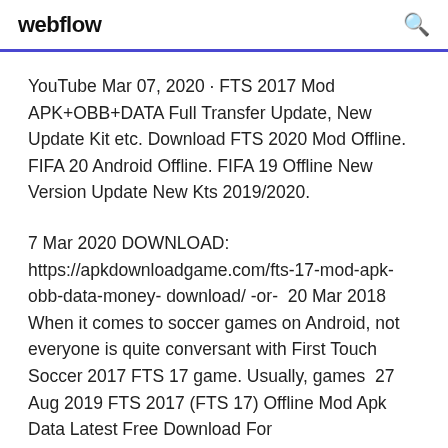webflow
YouTube Mar 07, 2020 · FTS 2017 Mod APK+OBB+DATA Full Transfer Update, New Update Kit etc. Download FTS 2020 Mod Offline. FIFA 20 Android Offline. FIFA 19 Offline New Version Update New Kts 2019/2020.
7 Mar 2020 DOWNLOAD: https://apkdownloadgame.com/fts-17-mod-apk-obb-data-money- download/ -or-  20 Mar 2018 When it comes to soccer games on Android, not everyone is quite conversant with First Touch Soccer 2017 FTS 17 game. Usually, games  27 Aug 2019 FTS 2017 (FTS 17) Offline Mod Apk Data Latest Free Download For